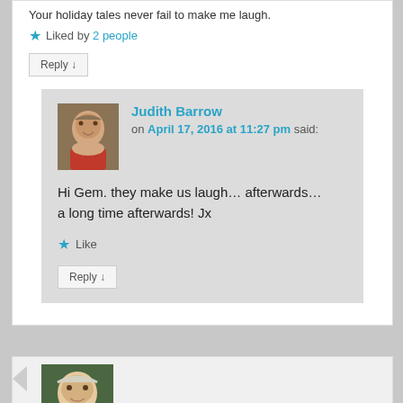Your holiday tales never fail to make me laugh.
★ Liked by 2 people
Reply ↓
Judith Barrow on April 17, 2016 at 11:27 pm said:
Hi Gem. they make us laugh... afterwards... a long time afterwards! Jx
★ Like
Reply ↓
[Figure (photo): Avatar photo of Judith Barrow - elderly woman in red jacket]
[Figure (photo): Avatar photo of second commenter - older woman with light hair outdoors]